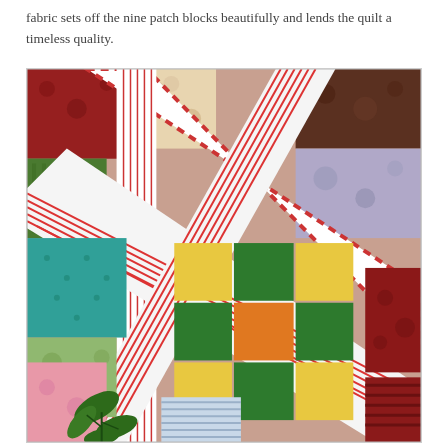fabric sets off the nine patch blocks beautifully and lends the quilt a timeless quality.
[Figure (photo): Close-up photograph of a colorful nine-patch quilt with red and white striped sashing forming diagonal lattice pattern. The quilt blocks feature various printed fabrics in green, yellow, orange, red, teal, pink, blue, and floral patterns. A houseplant is partially visible in the lower left corner.]